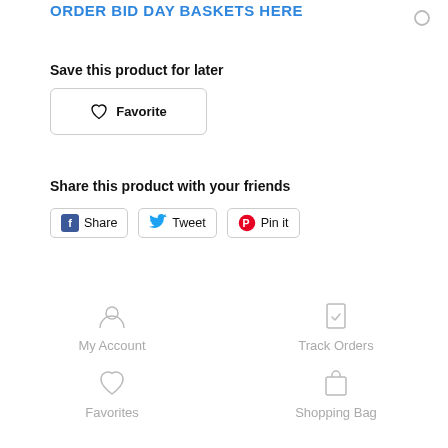ORDER BID DAY BASKETS HERE
Save this product for later
Favorite
Share this product with your friends
Share  Tweet  Pin it
My Account
Track Orders
Favorites
Shopping Bag